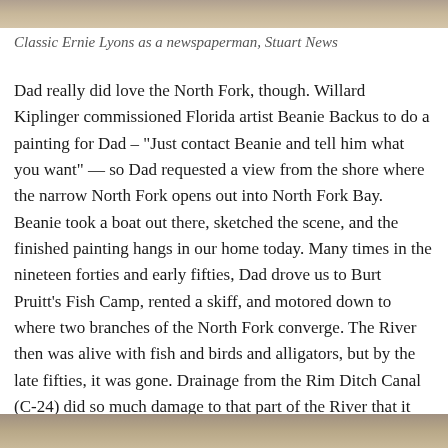[Figure (photo): Top strip of a photograph showing a person, partially cropped]
Classic Ernie Lyons as a newspaperman, Stuart News
Dad really did love the North Fork, though. Willard Kiplinger commissioned Florida artist Beanie Backus to do a painting for Dad – "Just contact Beanie and tell him what you want" — so Dad requested a view from the shore where the narrow North Fork opens out into North Fork Bay. Beanie took a boat out there, sketched the scene, and the finished painting hangs in our home today. Many times in the nineteen forties and early fifties, Dad drove us to Burt Pruitt's Fish Camp, rented a skiff, and motored down to where two branches of the North Fork converge. The River then was alive with fish and birds and alligators, but by the late fifties, it was gone. Drainage from the Rim Ditch Canal (C-24) did so much damage to that part of the River that it lost its sparkle. I don't think Dad ever went back to the North Fork; after that, he just lived with the memories.
[Figure (photo): Bottom strip of a photograph, partially cropped at page bottom]